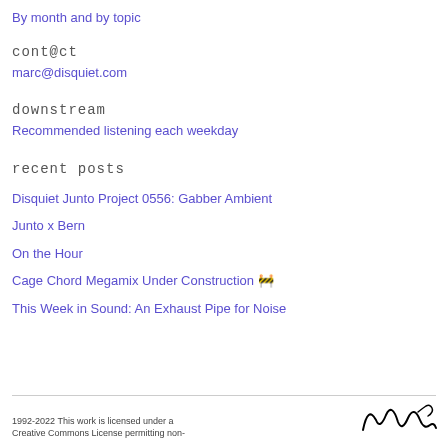By month and by topic
cont@ct
marc@disquiet.com
downstream
Recommended listening each weekday
recent posts
Disquiet Junto Project 0556: Gabber Ambient
Junto x Bern
On the Hour
Cage Chord Megamix Under Construction 🚧
This Week in Sound: An Exhaust Pipe for Noise
1992-2022 This work is licensed under a Creative Commons License permitting non-